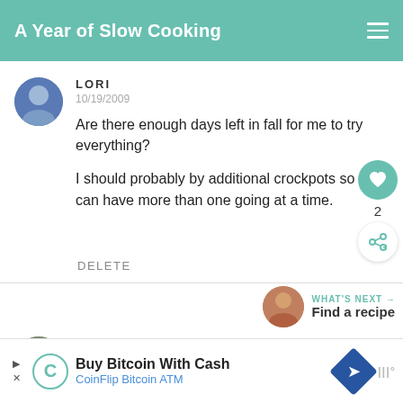A Year of Slow Cooking
LORI
10/19/2009
Are there enough days left in fall for me to try everything?

I should probably by additional crockpots so I can have more than one going at a time.
DELETE
WHAT'S NEXT → Find a recipe
K ALLRICH
Buy Bitcoin With Cash CoinFlip Bitcoin ATM